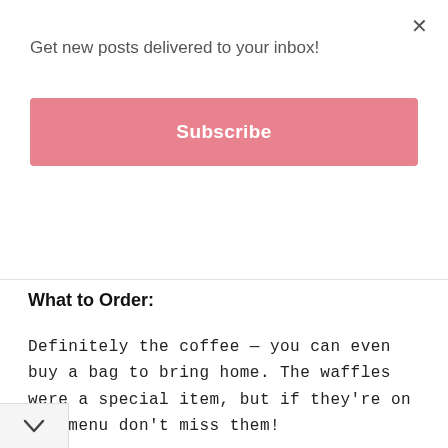Get new posts delivered to your inbox!
Subscribe
What to Order:
Definitely the coffee — you can even buy a bag to bring home. The waffles were a special item, but if they're on the menu don't miss them!